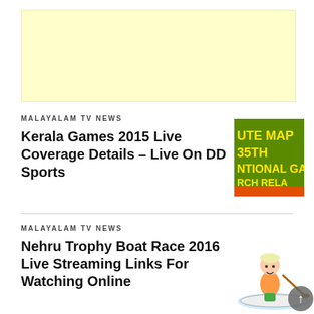[Figure (other): Light yellow advertisement banner placeholder]
MALAYALAM TV NEWS
Kerala Games 2015 Live Coverage Details – Live On DD Sports
[Figure (other): Green background image with yellow text: UTE MAP 35TH NTIONAL GA RCH RELA with orange bottom strip]
MALAYALAM TV NEWS
Nehru Trophy Boat Race 2016 Live Streaming Links For Watching Online
[Figure (illustration): Cartoon illustration of a child in a boat rowing, with a scroll-to-top button overlay]